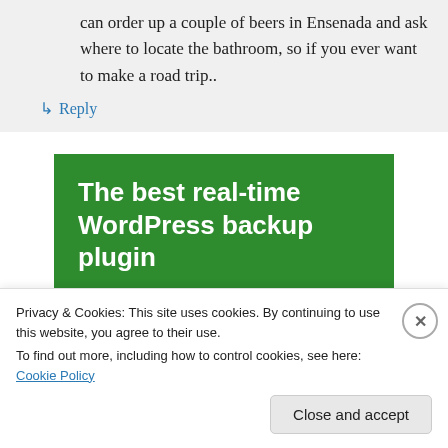can order up a couple of beers in Ensenada and ask where to locate the bathroom, so if you ever want to make a road trip..
↳ Reply
[Figure (infographic): Green advertisement banner reading 'The best real-time WordPress backup plugin']
Privacy & Cookies: This site uses cookies. By continuing to use this website, you agree to their use.
To find out more, including how to control cookies, see here: Cookie Policy
Close and accept